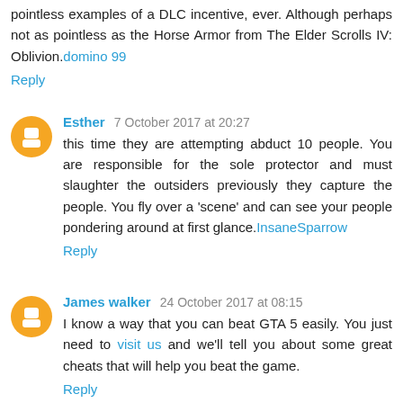pointless examples of a DLC incentive, ever. Although perhaps not as pointless as the Horse Armor from The Elder Scrolls IV: Oblivion.domino 99
Reply
Esther  7 October 2017 at 20:27
this time they are attempting abduct 10 people. You are responsible for the sole protector and must slaughter the outsiders previously they capture the people. You fly over a 'scene' and can see your people pondering around at first glance.InsaneSparrow
Reply
James walker  24 October 2017 at 08:15
I know a way that you can beat GTA 5 easily. You just need to visit us and we'll tell you about some great cheats that will help you beat the game.
Reply